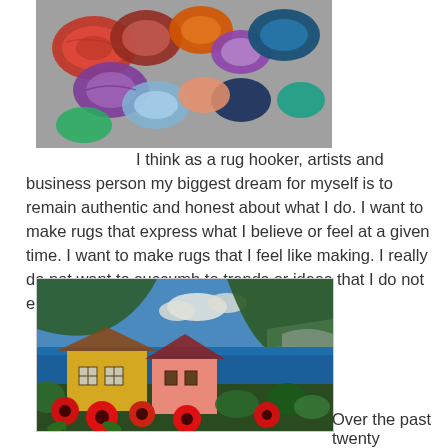[Figure (photo): Colorful skeins/balls of yarn in various colors including red, purple, blue, orange, and dark blue arranged together]
I think as a rug hooker, artists and business person my biggest dream for myself is to remain authentic and honest about what I do. I want to make rugs that express what I believe or feel at a given time. I want to make rugs that I feel like making. I really do not want to succumb to trends or ideas that I do not embrace inside myself.
[Figure (photo): A hooked rug depicting a coastal scene with yellow and pink houses, red poppies in the foreground, blue water, green hills, and cloudy sky]
Over the past twenty